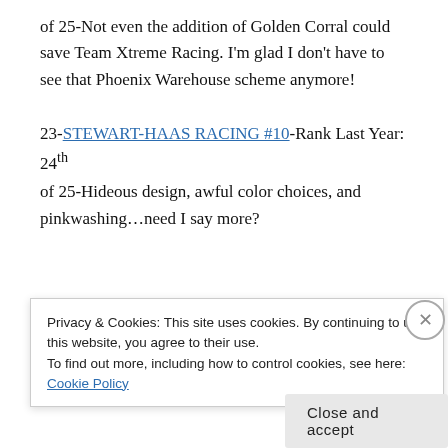of 25-Not even the addition of Golden Corral could save Team Xtreme Racing. I'm glad I don't have to see that Phoenix Warehouse scheme anymore!
23-STEWART-HAAS RACING #10-Rank Last Year: 24th of 25-Hideous design, awful color choices, and pinkwashing…need I say more?
Privacy & Cookies: This site uses cookies. By continuing to use this website, you agree to their use.
To find out more, including how to control cookies, see here: Cookie Policy